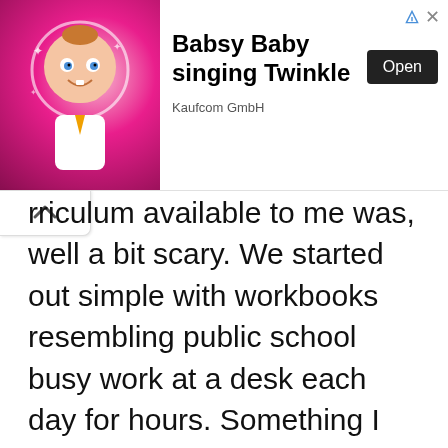[Figure (other): Advertisement banner for 'Babsy Baby singing Twinkle' app by Kaufcom GmbH, featuring a cartoon baby character on a pink background with an Open button]
rriculum available to me was, well a bit scary. We started out simple with workbooks resembling public school busy work at a desk each day for hours. Something I don't wish on anyone let alone a homeschool mom with a willful ADHD child and a toddler. I learned quickly that the school at home model of education